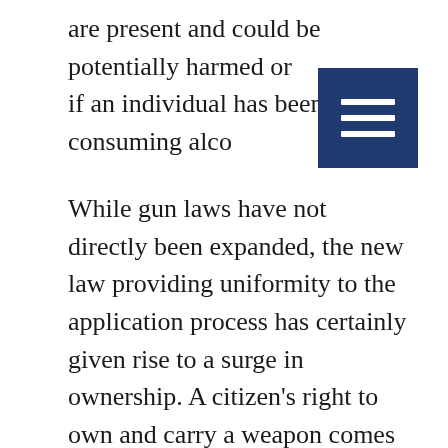are present and could be potentially harmed or if an individual has been consuming alco…
While gun laws have not directly been expanded, the new law providing uniformity to the application process has certainly given rise to a surge in ownership. A citizen's right to own and carry a weapon comes with a corresponding responsibility to ensure the safety of those around them. While the majority of gun owners are responsible and safe, those that aren't may well find themselves responsible for any harm they cause by their lack of diligence.